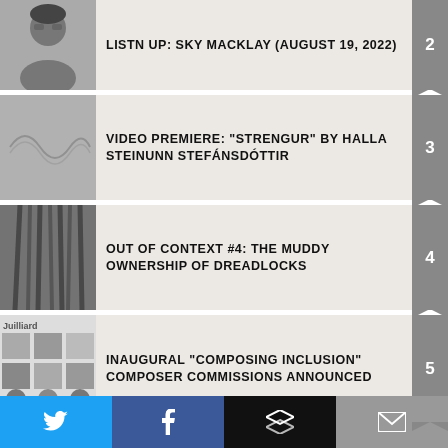LISTN UP: SKY MACKLAY (AUGUST 19, 2022)
VIDEO PREMIERE: "STRENGUR" BY HALLA STEINUNN STEFÁNSDÓTTIR
OUT OF CONTEXT #4: THE MUDDY OWNERSHIP OF DREADLOCKS
INAUGURAL "COMPOSING INCLUSION" COMPOSER COMMISSIONS ANNOUNCED
SIGN UP FOR ACF'S NEWSLETTER!